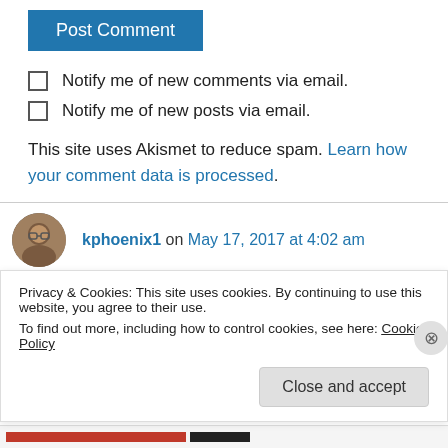Post Comment
Notify me of new comments via email.
Notify me of new posts via email.
This site uses Akismet to reduce spam. Learn how your comment data is processed.
kphoenix1 on May 17, 2017 at 4:02 am
Privacy & Cookies: This site uses cookies. By continuing to use this website, you agree to their use.
To find out more, including how to control cookies, see here: Cookie Policy
Close and accept